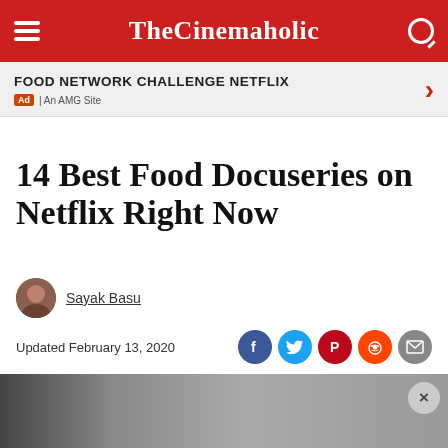TheCinemaholic
[Figure (screenshot): Ad banner: FOOD NETWORK CHALLENGE NETFLIX with red arrow and Ad / An AMG Site label]
14 Best Food Docuseries on Netflix Right Now
Sayak Basu
Updated February 13, 2020
[Figure (screenshot): Social share icons: Facebook, Twitter, Pinterest, Reddit, Email]
[Figure (photo): Hero image area - gray/dark background, partially visible, with close button]
[Figure (screenshot): Bloomingdales advertisement: bloomingdales logo, View Today's Top Deals!, fashion photo, SHOP NOW button]